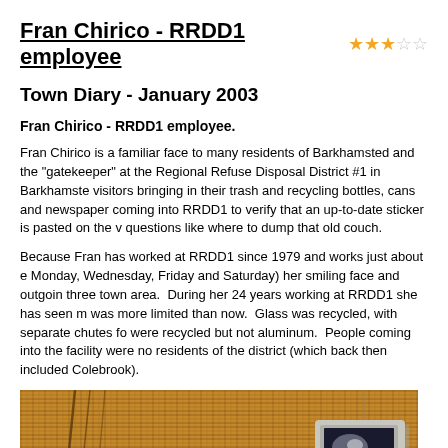Fran Chirico - RRDD1 employee ★★★☆☆
Town Diary - January 2003
Fran Chirico - RRDD1 employee.
Fran Chirico is a familiar face to many residents of Barkhamsted and the "gatekeeper" at the Regional Refuse Disposal District #1 in Barkhamsted visitors bringing in their trash and recycling bottles, cans and newspapers coming into RRDD1 to verify that an up-to-date sticker is pasted on the v questions like where to dump that old couch.
Because Fran has worked at RRDD1 since 1979 and works just about e Monday, Wednesday, Friday and Saturday) her smiling face and outgoing three town area. During her 24 years working at RRDD1 she has seen m was more limited than now. Glass was recycled, with separate chutes fo were recycled but not aluminum. People coming into the facility were no residents of the district (which back then included Colebrook).
[Figure (photo): Interior photo showing wicker/rattan background texture with a lamp shade on the left and a CRT computer monitor on the right.]